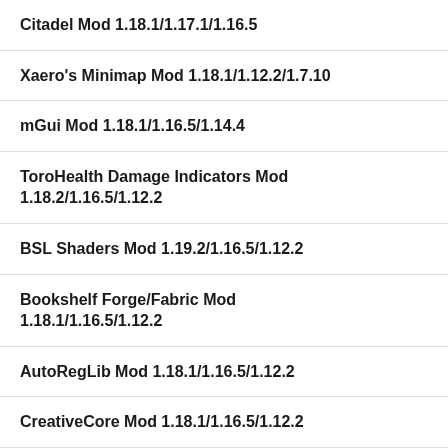Citadel Mod 1.18.1/1.17.1/1.16.5
Xaero's Minimap Mod 1.18.1/1.12.2/1.7.10
mGui Mod 1.18.1/1.16.5/1.14.4
ToroHealth Damage Indicators Mod 1.18.2/1.16.5/1.12.2
BSL Shaders Mod 1.19.2/1.16.5/1.12.2
Bookshelf Forge/Fabric Mod 1.18.1/1.16.5/1.12.2
AutoRegLib Mod 1.18.1/1.16.5/1.12.2
CreativeCore Mod 1.18.1/1.16.5/1.12.2
CraftTweaker Forge/Fabric Mod 1.18.1/1.16.5/1.12.2